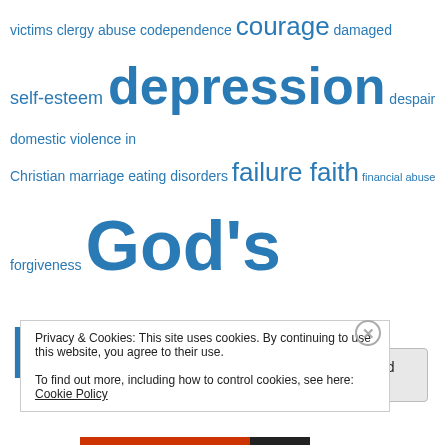[Figure (infographic): Tag cloud with words related to abuse, trauma, and faith in various font sizes, all in blue. Visible words include: victims, clergy abuse, codependence, courage, damaged, self-esteem, depression, despair, domestic violence, in Christian marriage, eating disorders, failure, faith, financial abuse, forgiveness, God's love for abuse victims, God's plan for our lives, good v. evil, grooming, guilt, healing from abuse, hope, human trafficking, incest, innocent suffering, isolation, loneliness, low self-esteem, pedophilia, PTSD, and more (partially cut off).]
Privacy & Cookies: This site uses cookies. By continuing to use this website, you agree to their use. To find out more, including how to control cookies, see here: Cookie Policy
Close and accept